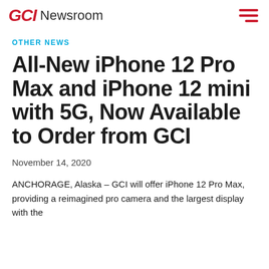GCI Newsroom
OTHER NEWS
All-New iPhone 12 Pro Max and iPhone 12 mini with 5G, Now Available to Order from GCI
November 14, 2020
ANCHORAGE, Alaska – GCI will offer iPhone 12 Pro Max, providing a reimagined pro camera and the largest display with the